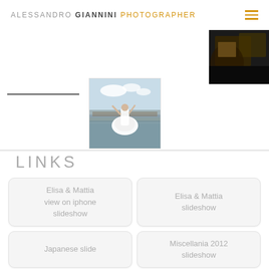ALESSANDRO GIANNINI PHOTOGRAPHER
[Figure (photo): Photographer portfolio page with two thumbnail images: a dark abstract image in the top right corner and a centered wedding photo of a bride in a white dress spinning in front of a bridge.]
LINKS
Elisa & Mattia view on iphone slideshow
Elisa & Mattia slideshow
Japanese slide
Miscellania 2012 slideshow